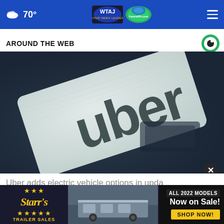70° | WTAJ / CentralPA.com
AROUND THE WEB
[Figure (photo): Close-up photo of a white Uber business card with 'uber' written in large dark letters, placed on a dark blurred surface]
Uber adds electric vehicle options in upda...
[Figure (photo): Advertisement for Starr's Trailer Sales - ALL 2022 MODELS Now on Sale! SHOP NOW!]